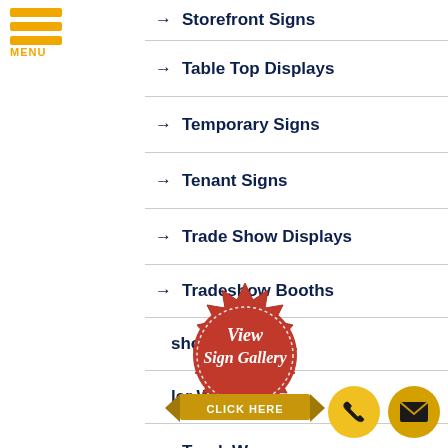Storefront Signs
Table Top Displays
Temporary Signs
Tenant Signs
Trade Show Displays
Tradeshow Booths
Tradeshow Exhibits
Vehicle Wraps
Truck Wraps
[Figure (logo): Red seal badge with italic script text 'View Sign Gallery' and gold ribbon banner reading 'CLICK HERE']